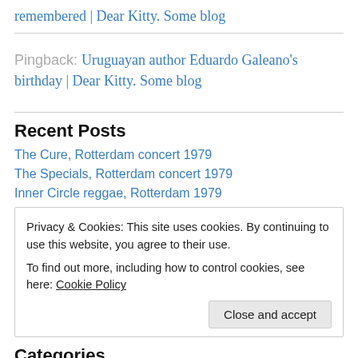remembered | Dear Kitty. Some blog
Pingback: Uruguayan author Eduardo Galeano's birthday | Dear Kitty. Some blog
Recent Posts
The Cure, Rotterdam concert 1979
The Specials, Rotterdam concert 1979
Inner Circle reggae, Rotterdam 1979
Privacy & Cookies: This site uses cookies. By continuing to use this website, you agree to their use. To find out more, including how to control cookies, see here: Cookie Policy
Close and accept
Categories